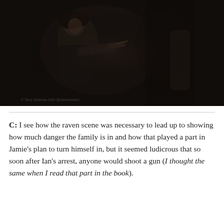[Figure (photo): Dark, moody still from a TV show or film showing a figure in historical costume holding a firearm in a dimly lit interior setting. Watermark text visible in lower left area.]
C: I see how the raven scene was necessary to lead up to showing how much danger the family is in and how that played a part in Jamie's plan to turn himself in, but it seemed ludicrous that so soon after Ian's arrest, anyone would shoot a gun (I thought the same when I read that part in the book).